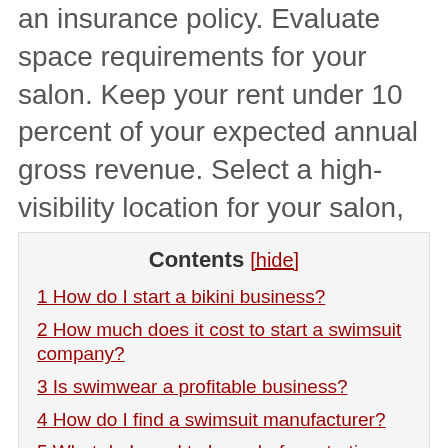an insurance policy. Evaluate space requirements for your salon. Keep your rent under 10 percent of your expected annual gross revenue. Select a high-visibility location for your salon, preferably situated between businesses or restaurants that draw similar clientele.
Contents [hide]
1 How do I start a bikini business?
2 How much does it cost to start a swimsuit company?
3 Is swimwear a profitable business?
4 How do I find a swimsuit manufacturer?
5 What do I need to know before starting a